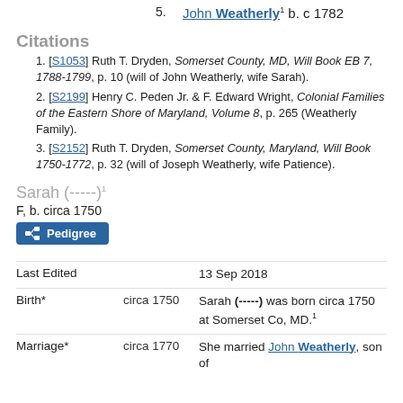5. John Weatherly¹ b. c 1782
Citations
1. [S1053] Ruth T. Dryden, Somerset County, MD, Will Book EB 7, 1788-1799, p. 10 (will of John Weatherly, wife Sarah).
2. [S2199] Henry C. Peden Jr. & F. Edward Wright, Colonial Families of the Eastern Shore of Maryland, Volume 8, p. 265 (Weatherly Family).
3. [S2152] Ruth T. Dryden, Somerset County, Maryland, Will Book 1750-1772, p. 32 (will of Joseph Weatherly, wife Patience).
Sarah (-----)¹
F, b. circa 1750
| Field | Date | Detail |
| --- | --- | --- |
| Last Edited |  | 13 Sep 2018 |
| Birth* | circa 1750 | Sarah (-----) was born circa 1750 at Somerset Co, MD.¹ |
| Marriage* | circa 1770 | She married John Weatherly, son of |